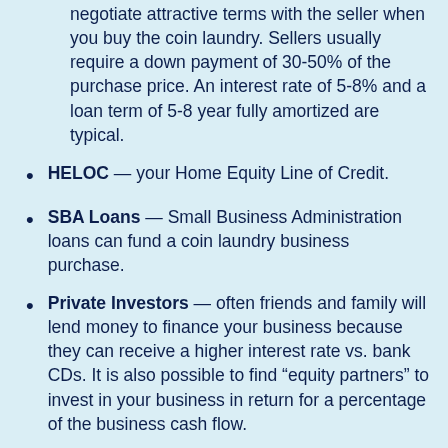negotiate attractive terms with the seller when you buy the coin laundry. Sellers usually require a down payment of 30-50% of the purchase price. An interest rate of 5-8% and a loan term of 5-8 year fully amortized are typical.
HELOC — your Home Equity Line of Credit.
SBA Loans — Small Business Administration loans can fund a coin laundry business purchase.
Private Investors — often friends and family will lend money to finance your business because they can receive a higher interest rate vs. bank CDs. It is also possible to find “equity partners” to invest in your business in return for a percentage of the business cash flow.